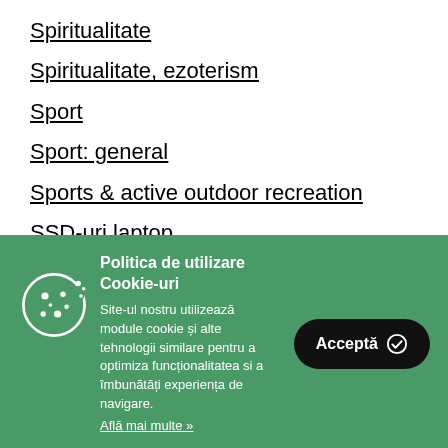Spiritualitate
Spiritualitate, ezoterism
Sport
Sport: general
Sports & active outdoor recreation
SSD-uri laptop
Politica de utilizare Cookie-uri
Site-ul nostru utilizează module cookie și alte tehnologii similare pentru a optimiza funcționalitatea si a îmbunătăți experiența de navigare.
Află mai multe »
Acceptă